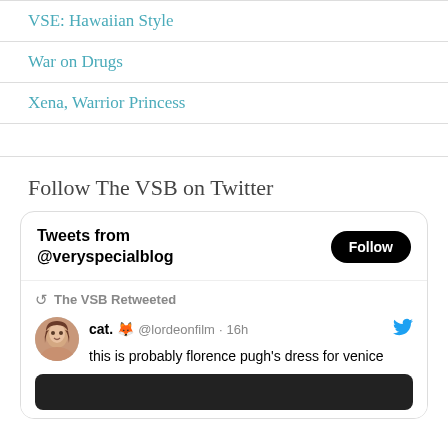VSE: Hawaiian Style
War on Drugs
Xena, Warrior Princess
Follow The VSB on Twitter
[Figure (screenshot): Twitter widget showing 'Tweets from @veryspecialblog' with a Follow button, and a retweet by The VSB of a tweet from cat. @lordeonfilm 16h: 'this is probably florence pugh's dress for venice']